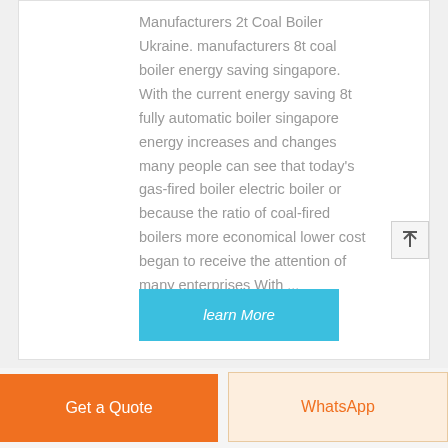Manufacturers 2t Coal Boiler Ukraine. manufacturers 8t coal boiler energy saving singapore. With the current energy saving 8t fully automatic boiler singapore energy increases and changes many people can see that today's gas-fired boiler electric boiler or because the ratio of coal-fired boilers more economical lower cost began to receive the attention of many enterprises With ...
learn More
Get a Quote
WhatsApp